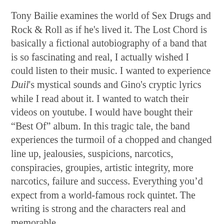Tony Bailie examines the world of Sex Drugs and Rock & Roll as if he's lived it. The Lost Chord is basically a fictional autobiography of a band that is so fascinating and real, I actually wished I could listen to their music. I wanted to experience Duil's mystical sounds and Gino's cryptic lyrics while I read about it. I wanted to watch their videos on youtube. I would have bought their “Best Of” album. In this tragic tale, the band experiences the turmoil of a chopped and changed line up, jealousies, suspicions, narcotics, conspiracies, groupies, artistic integrity, more narcotics, failure and success. Everything you’d expect from a world-famous rock quintet. The writing is strong and the characters real and memorable.
I devoured this book and it deserves a lot more recognition than I can provide, but if you’re reading this, do yourselves a favour and buy The Lost Chord. I picked it up at Waterstones in Newry as an impulse buy, but you overseas readers can buy it online from Lagan Press. I can vouch for their trustworthiness if you haven’t heard of them. They supply a good portion of the books to the Belfast Central Library’s Belfast, Ulster and Irish Studies section, and put together